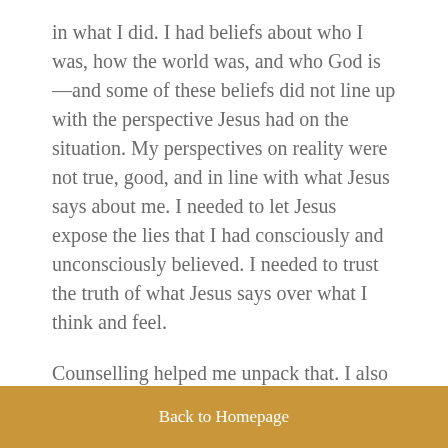in what I did. I had beliefs about who I was, how the world was, and who God is—and some of these beliefs did not line up with the perspective Jesus had on the situation. My perspectives on reality were not true, good, and in line with what Jesus says about me. I needed to let Jesus expose the lies that I had consciously and unconsciously believed. I needed to trust the truth of what Jesus says over what I think and feel.
Counselling helped me unpack that. I also got to learn some Christian cognitive behavioural therapy tools that helped me understand what was going on in my mind, why I did what I did, so that I could respond effectively to these
Back to Homepage